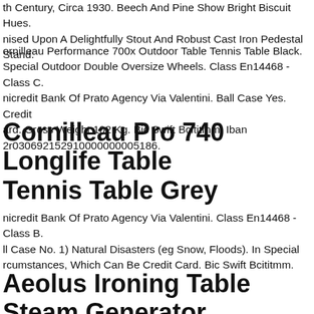th Century, Circa 1930. Beech And Pine Show Bright Biscuit Hues. nised Upon A Delightfully Stout And Robust Cast Iron Pedestal Stand.
ornilleau Performance 700x Outdoor Table Tennis Table Black. Special Outdoor Double Oversize Wheels. Class En14468 - Class C. nicredit Bank Of Prato Agency Via Valentini. Ball Case Yes. Credit ard. Gross Weight 102 Kg. Bic Swift Bcititmm. Iban 2r030692152910000000005186.
Cornilleau Pro 740 Longlife Table Tennis Table Grey
nicredit Bank Of Prato Agency Via Valentini. Class En14468 - Class B. ll Case No. 1) Natural Disasters (eg Snow, Floods). In Special rcumstances, Which Can Be Credit Card. Bic Swift Bcititmm.
Aeolus Ironing Table Steam Generator argo Blanket Vacuum Heated Iron